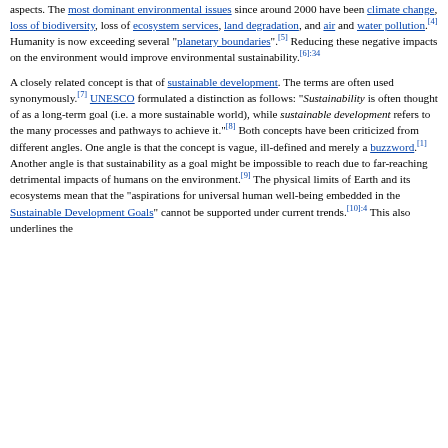called pillars): environmental, economic and social. This concept can be used to guide decisions at the global, national and at the individual level (e.g. sustainable living).[3] In everyday usage of the term, sustainability is often focused mainly on the environmental aspects. The most dominant environmental issues since around 2000 have been climate change, loss of biodiversity, loss of ecosystem services, land degradation, and air and water pollution.[4] Humanity is now exceeding several "planetary boundaries".[5] Reducing these negative impacts on the environment would improve environmental sustainability.[6]:34
A closely related concept is that of sustainable development. The terms are often used synonymously.[7] UNESCO formulated a distinction as follows: "Sustainability is often thought of as a long-term goal (i.e. a more sustainable world), while sustainable development refers to the many processes and pathways to achieve it."[8] Both concepts have been criticized from different angles. One angle is that the concept is vague, ill-defined and merely a buzzword.[1] Another angle is that sustainability as a goal might be impossible to reach due to far-reaching detrimental impacts of humans on the environment.[9] The physical limits of Earth and its ecosystems mean that the "aspirations for universal human well-being embedded in the Sustainable Development Goals" cannot be supported under current trends.[10]:4 This also underlines the